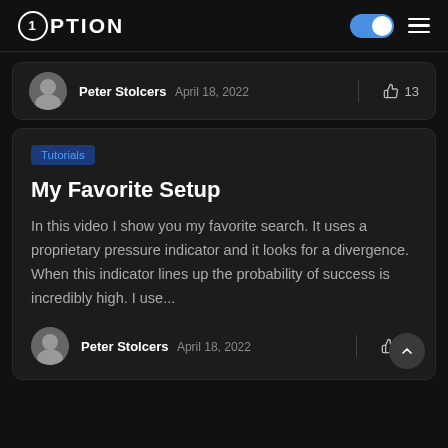1Option
Peter Stolcers  April 18, 2022  👍 13
Tutorials
My Favorite Setup
In this video I show you my favorite search. It uses a proprietary pressure indicator and it looks for a divergence. When this indicator lines up the probability of success is incredibly high. I use...
Peter Stolcers  April 18, 2022  👍 19